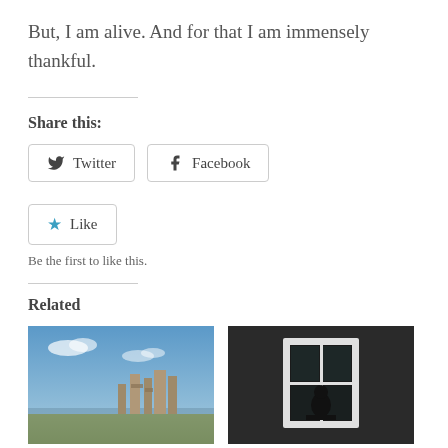But, I am alive. And for that I am immensely thankful.
Share this:
Twitter
Facebook
Like
Be the first to like this.
Related
[Figure (photo): Ruins of an abbey/castle on marshland under a blue sky with clouds]
Homosexuality,
[Figure (photo): Dark room with a window showing silhouette of a person sitting]
How Depression has